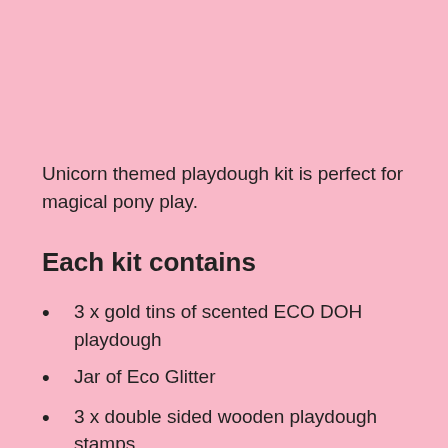Unicorn themed playdough kit is perfect for magical pony play.
Each kit contains
3 x gold tins of scented ECO DOH playdough
Jar of Eco Glitter
3 x double sided wooden playdough stamps